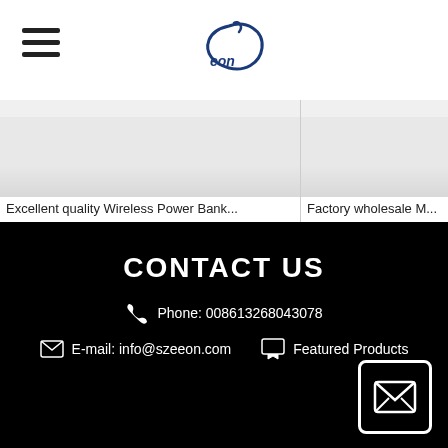[Figure (logo): Eon brand logo — stylized letter C/swirl with 'eon' text in blue]
Excellent quality Wireless Power Bank...
Factory wholesale M...
CONTACT US
Phone: 008613268043078
E-mail: info@szeeon.com
Featured Products
[Figure (illustration): Envelope/email icon in white outline at bottom right corner]